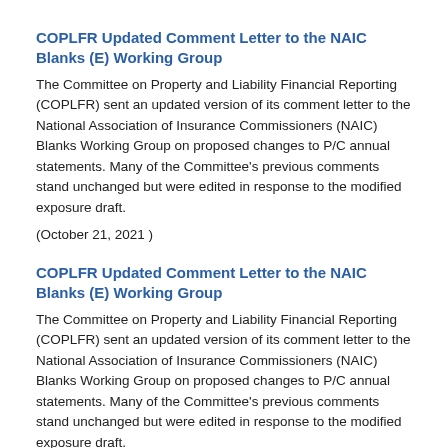COPLFR Updated Comment Letter to the NAIC Blanks (E) Working Group
The Committee on Property and Liability Financial Reporting (COPLFR) sent an updated version of its comment letter to the National Association of Insurance Commissioners (NAIC) Blanks Working Group on proposed changes to P/C annual statements. Many of the Committee's previous comments stand unchanged but were edited in response to the modified exposure draft.
(October 21, 2021 )
COPLFR Updated Comment Letter to the NAIC Blanks (E) Working Group
The Committee on Property and Liability Financial Reporting (COPLFR) sent an updated version of its comment letter to the National Association of Insurance Commissioners (NAIC) Blanks Working Group on proposed changes to P/C annual statements. Many of the Committee's previous comments stand unchanged but were edited in response to the modified exposure draft.
(October 21, 2021 )